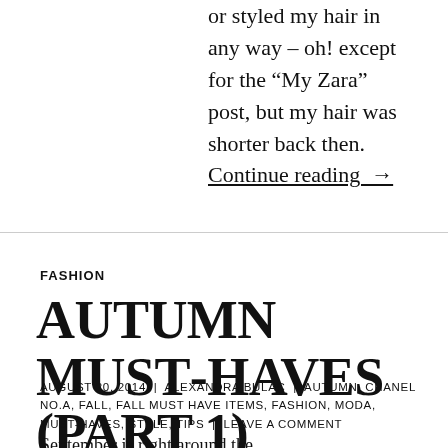or styled my hair in any way – oh! except for the “My Zara” post, but my hair was shorter back then. Continue reading →
FASHION
AUTUMN MUST-HAVES (PART 1)
AUGUST 20, 2014 | ALEXANDRA BULAC | AUTUMN, CHANEL NO.A, FALL, FALL MUST HAVE ITEMS, FASHION, MODA, MUST-HAVES, STYLE, TIPS | LEAVE A COMMENT
September is right around the